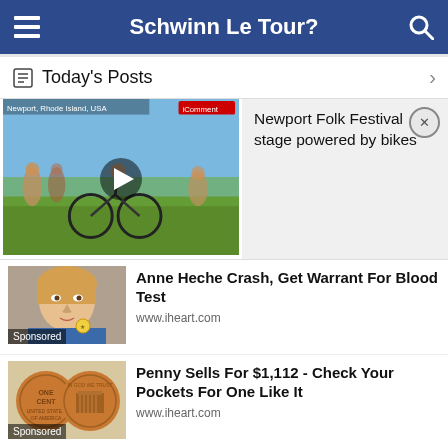Schwinn Le Tour?
Today's Posts
[Figure (screenshot): Video thumbnail showing people with bikes at a festival, with a play button overlay and text 'Newport Folk Festival stage powered by bikes' in a card on the right with a close (X) button]
[Figure (photo): Sponsored article thumbnail showing a woman's face with text 'Anne Heche Crash, Get Warrant For Blood Test' and source www.iheart.com]
[Figure (photo): Sponsored article thumbnail showing penny coins with text 'Penny Sells For $1,112 - Check Your Pockets For One Like It' and source www.iheart.com]
Copyright © 2021 MH Sub I, LLC dba Internet Brands. All rights reserved. Use of this site indicates your consent to the Terms of Use.